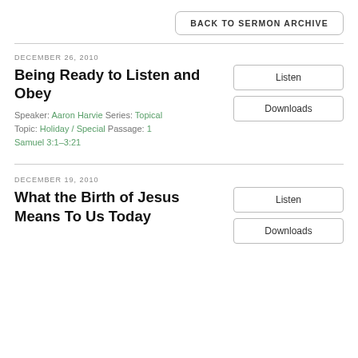BACK TO SERMON ARCHIVE
DECEMBER 26, 2010
Being Ready to Listen and Obey
Speaker: Aaron Harvie Series: Topical Topic: Holiday / Special Passage: 1 Samuel 3:1–3:21
DECEMBER 19, 2010
What the Birth of Jesus Means To Us Today